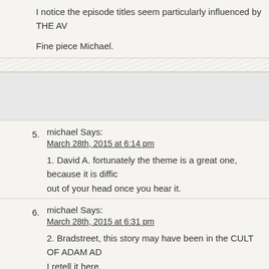I notice the episode titles seem particularly influenced by THE AV...

Fine piece Michael.
5. michael Says:
March 28th, 2015 at 6:14 pm
1. David A. fortunately the theme is a great one, because it is diffi... out of your head once you hear it.
6. michael Says:
March 28th, 2015 at 6:31 pm
2. Bradstreet, this story may have been in the CULT OF ADAM AD... I retell it here.

One of the guest actors was worried about doing a sword fight wi... Harper who had a reputation of overdoing the sword fights. The m... up the stunts told the actor to immediately whack Harper on the b... hand. It would get him to back off.

Harper was extremely short-sighted and needed glasses. Imaging... over eager actor who can't see and swinging a sword at you.